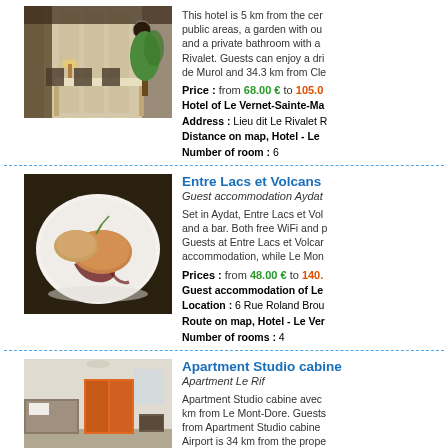[Figure (photo): Hotel dining room interior with tables set for dinner]
This hotel is 5 km from the centre public areas, a garden with ou and a private bathroom with a Rivalet. Guests can enjoy a dri de Murol and 34.3 km from Cle
Price : from 68.00 € to 105.0
Hotel of Le Vernet-Sainte-Ma
Address : Lieu dit Le Rivalet R
Distance on map, Hotel - Le
Number of room : 6
Entre Lacs et Volcans
Guest accommodation Aydat
[Figure (photo): Food dish - foie gras on toast with sauce on white plate]
Set in Aydat, Entre Lacs et Vol and a bar. Both free WiFi and p Guests at Entre Lacs et Volcar accommodation, while Le Mon
Prices : from 48.00 € to 140.
Guest accommodation of Le
Location : 6 Rue Roland Brou
Route on map, Hotel - Le Ver
Number of rooms : 4
Apartment Studio cabine
Apartment Le Rif
[Figure (photo): Apartment studio interior with furniture]
Apartment Studio cabine avec km from Le Mont-Dore. Guests from Apartment Studio cabine Airport is 34 km from the prope